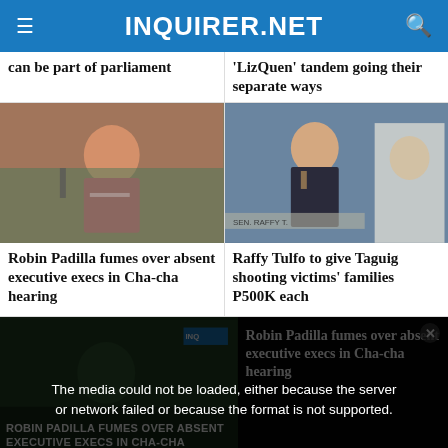INQUIRER.NET
can be part of parliament
'LizQuen' tandem going their separate ways
[Figure (photo): Robin Padilla speaking at hearing in pink shirt]
Robin Padilla fumes over absent executive execs in Cha-cha hearing
[Figure (photo): Raffy Tulfo speaking at senate hearing in suit and tie, nameplate visible]
Raffy Tulfo to give Taguig shooting victims' families P500K each
[Figure (screenshot): Video player with error overlay and Robin Padilla caption]
The media could not be loaded, either because the server or network failed or because the format is not supported.
Robin Padilla fumes over absent executive execs in Cha-cha hearing